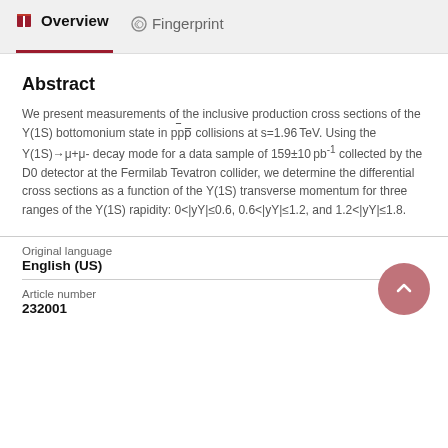Overview   Fingerprint
Abstract
We present measurements of the inclusive production cross sections of the Y(1S) bottomonium state in pp̄ collisions at s=1.96 TeV. Using the Y(1S)→μ+μ- decay mode for a data sample of 159±10 pb-1 collected by the D0 detector at the Fermilab Tevatron collider, we determine the differential cross sections as a function of the Y(1S) transverse momentum for three ranges of the Y(1S) rapidity: 0<|yY|≤0.6, 0.6<|yY|≤1.2, and 1.2<|yY|≤1.8.
Original language
English (US)
Article number
232001